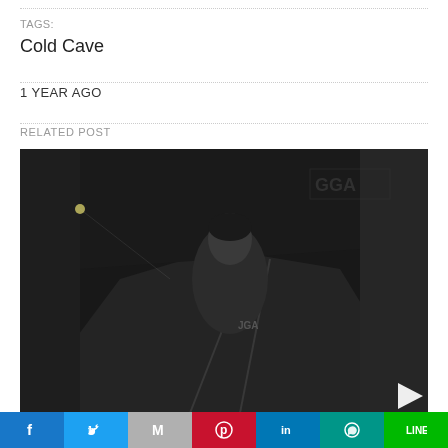TAGS:
Cold Cave
1 YEAR AGO
RELATED POST
[Figure (photo): Black and white photo of a person standing in a tunnel at night, looking downward, wearing a jacket. Graffiti visible on wall behind. Tunnel light in background. Play button triangle overlay in bottom right.]
[Figure (infographic): Social sharing bar with Facebook, Twitter, Google Mail, Pinterest, LinkedIn, WhatsApp, LINE icons]